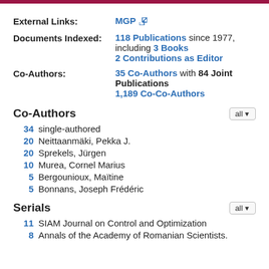External Links: MGP [external link icon]
Documents Indexed: 118 Publications since 1977, including 3 Books
2 Contributions as Editor
Co-Authors: 35 Co-Authors with 84 Joint Publications
1,189 Co-Co-Authors
Co-Authors
34  single-authored
20  Neittaanmäki, Pekka J.
20  Sprekels, Jürgen
10  Murea, Cornel Marius
5  Bergounioux, Maïtine
5  Bonnans, Joseph Frédéric
Serials
11  SIAM Journal on Control and Optimization
8  Annals of the Academy of Romanian Scientists.